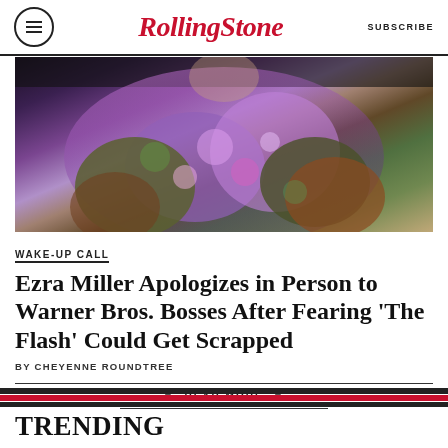RollingStone | SUBSCRIBE
[Figure (photo): Close-up photo of a person wearing a colorful floral and olive jacket]
WAKE-UP CALL
Ezra Miller Apologizes in Person to Warner Bros. Bosses After Fearing ‘The Flash’ Could Get Scrapped
BY CHEYENNE ROUNDTREE
▼ READ MORE ▼
TRENDING